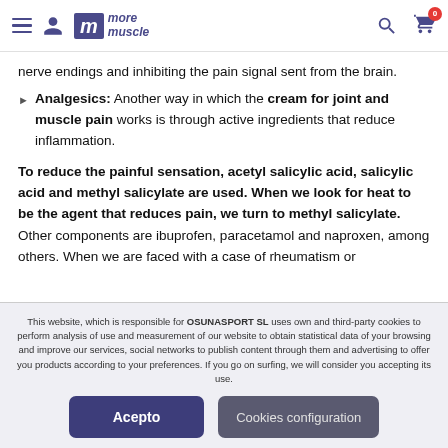more muscle — navigation header
nerve endings and inhibiting the pain signal sent from the brain.
Analgesics: Another way in which the cream for joint and muscle pain works is through active ingredients that reduce inflammation.
To reduce the painful sensation, acetyl salicylic acid, salicylic acid and methyl salicylate are used. When we look for heat to be the agent that reduces pain, we turn to methyl salicylate. Other components are ibuprofen, paracetamol and naproxen, among others. When we are faced with a case of rheumatism or
This website, which is responsible for OSUNASPORT SL uses own and third-party cookies to perform analysis of use and measurement of our website to obtain statistical data of your browsing and improve our services, social networks to publish content through them and advertising to offer you products according to your preferences. If you go on surfing, we will consider you accepting its use.
Acepto | Cookies configuration